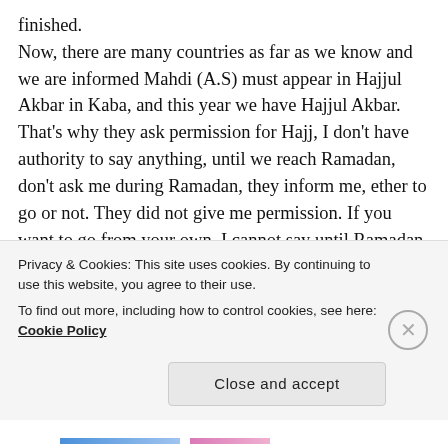finished.
Now, there are many countries as far as we know and we are informed Mahdi (A.S) must appear in Hajjul Akbar in Kaba, and this year we have Hajjul Akbar. That's why they ask permission for Hajj, I don't have authority to say anything, until we reach Ramadan, don't ask me during Ramadan, they inform me, ether to go or not. They did not give me permission. If you want to go from your own. I cannot say until Ramadan, the situation of the world is not clear. When Mahdi (A.S) is seen in Arafat, he says Takbir and he finishes it. This is my hope. I have been waiting for Mahdi (A.S) since
Privacy & Cookies: This site uses cookies. By continuing to use this website, you agree to their use.
To find out more, including how to control cookies, see here: Cookie Policy
Close and accept